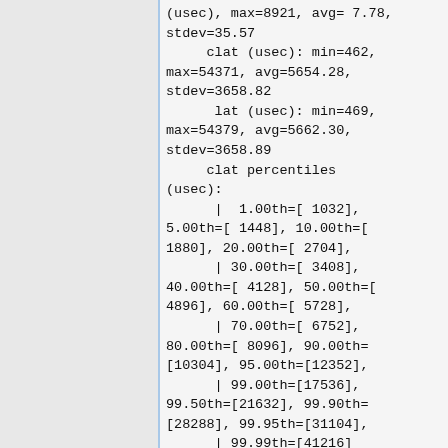(usec), max=8921, avg= 7.78, stdev=35.57
     clat (usec): min=462, max=54371, avg=5654.28, stdev=3658.82
      lat (usec): min=469, max=54379, avg=5662.30, stdev=3658.89
     clat percentiles (usec):
      |  1.00th=[ 1032], 5.00th=[ 1448], 10.00th=[ 1880], 20.00th=[ 2704],
      | 30.00th=[ 3408], 40.00th=[ 4128], 50.00th=[ 4896], 60.00th=[ 5728],
      | 70.00th=[ 6752], 80.00th=[ 8096], 90.00th=[10304], 95.00th=[12352],
      | 99.00th=[17536], 99.50th=[21632], 99.90th=[28288], 99.95th=[31104],
      | 99.99th=[41216]
     bw (KB  /s):
min=19175, max=53703